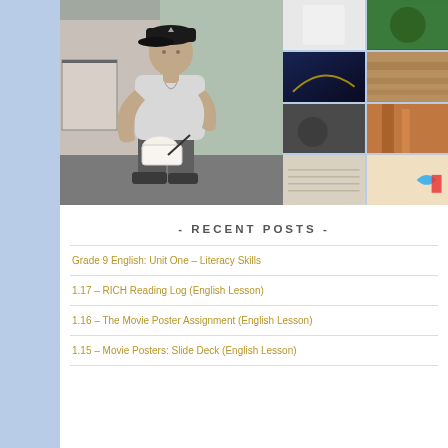[Figure (photo): Collage of photos: large photo of a man in a black cap writing in a notebook, alongside a grid of 8 smaller photos including nature, textures, and abstract images]
- RECENT POSTS -
Grade 9 English: Unit One – Literacy Skills
1.17 – RICH Reading Log (English Lesson)
1.16 – The Movie Poster Assignment (English Lesson)
1.15 – Movie Posters: Slide Deck (English Lesson)